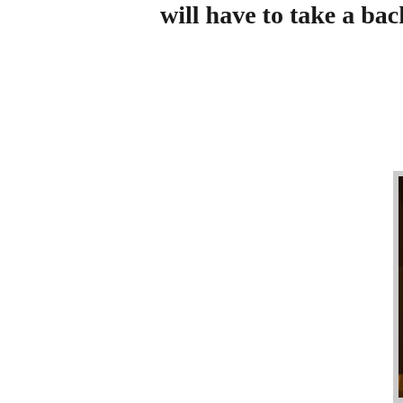will have to take a back seat for the mo
[Figure (photo): A close-up photo of glazed roasted chicken drumsticks with caramelized onions and green bell peppers in a roasting pan, showing golden-brown and char-marked skin.]